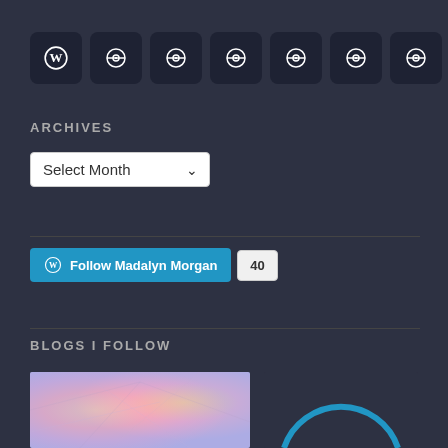[Figure (infographic): Row of 8 dark rounded square icon buttons: one WordPress logo and seven Pokeball-style icons]
ARCHIVES
Select Month (dropdown)
Follow Madalyn Morgan  40
BLOGS I FOLLOW
[Figure (photo): Colorful watercolor-style thumbnail with pink, yellow, and purple hues and subtle geometric lines]
[Figure (illustration): Dark background thumbnail with a blue arc/semicircle outline]